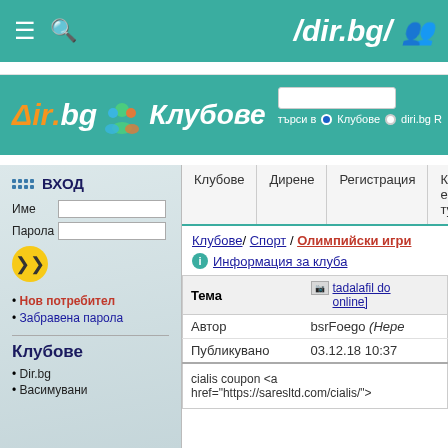≡ Q  /dir.bg/ 👥
[Figure (screenshot): Dir.bg Клубове logo header with search bar, radio buttons for Клубове and diri.bg]
ВХОД — Форма за вход с полета Име и Парола
• Нов потребител
• Забравена парола
Клубове
Dir.bg
Препоръчани
Клубове | Дирене | Регистрация | Кой е тук
Клубове/ Спорт / Олимпийски игри
Информация за клуба
| Тема | tadalafil do online] |
| --- | --- |
| Автор | bsrFoego (Нере |
| Публикувано | 03.12.18 10:37 |
cialis coupon <a href="https://saresltd.com/cialis/">